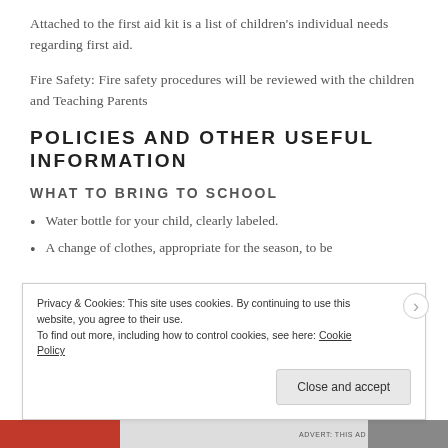Attached to the first aid kit is a list of children's individual needs regarding first aid.
Fire Safety: Fire safety procedures will be reviewed with the children and Teaching Parents
POLICIES AND OTHER USEFUL INFORMATION
WHAT TO BRING TO SCHOOL
Water bottle for your child, clearly labeled.
A change of clothes, appropriate for the season, to be
Privacy & Cookies: This site uses cookies. By continuing to use this website, you agree to their use. To find out more, including how to control cookies, see here: Cookie Policy